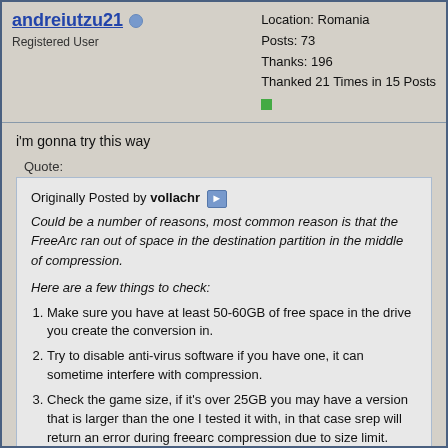andreiutzu21 (Registered User) | Location: Romania, Posts: 73, Thanks: 196, Thanked 21 Times in 15 Posts
i'm gonna try this way
Quote:
Originally Posted by vollachr — Could be a number of reasons, most common reason is that the FreeArc ran out of space in the destination partition in the middle of compression.

Here are a few things to check:
1. Make sure you have at least 50-60GB of free space in the drive you create the conversion in.
2. Try to disable anti-virus software if you have one, it can sometime interfere with compression.
3. Check the game size, if it's over 25GB you may have a version that is larger than the one I tested it with, in that case srep will return an error during freearc compression due to size limit.

if this is the case do the following:
1. In the location where you extracted the conversion files go into the folder [Common\Settings]